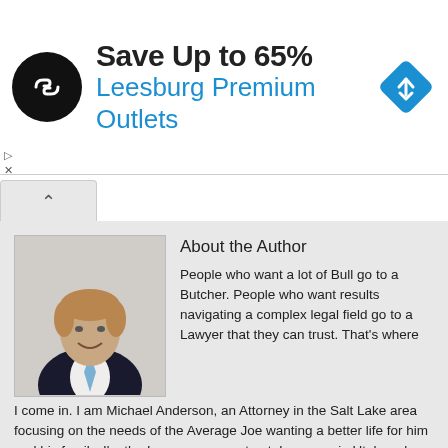[Figure (infographic): Advertisement banner: circular black logo with arrow/chain icon, text 'Save Up to 65%' in bold black, 'Leesburg Premium Outlets' in blue, and a blue diamond navigation icon on the right]
About the Author

People who want a lot of Bull go to a Butcher. People who want results navigating a complex legal field go to a Lawyer that they can trust. That's where I come in. I am Michael Anderson, an Attorney in the Salt Lake area focusing on the needs of the Average Joe wanting a better life for him and his family. I'm the Lawyer you can trust. I grew up in Utah and love it here. I am a Father to three, a Husband to one, and an Entrepreneur. I understand the feelings of joy each of those roles bring, and I understand the feeling of disappointment, fear, and regret when things go wrong. I attended the University of Utah where I received a B.A. degree in 2010 and a J.D. in 2014. I have focused my practice in Wills, Trusts, Real